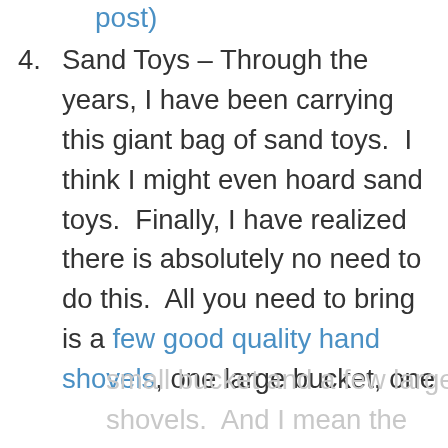post)
4. Sand Toys – Through the years, I have been carrying this giant bag of sand toys.  I think I might even hoard sand toys.  Finally, I have realized there is absolutely no need to do this.  All you need to bring is a few good quality hand shovels, one large bucket, one small bucket and a few large shovels.  And I mean the